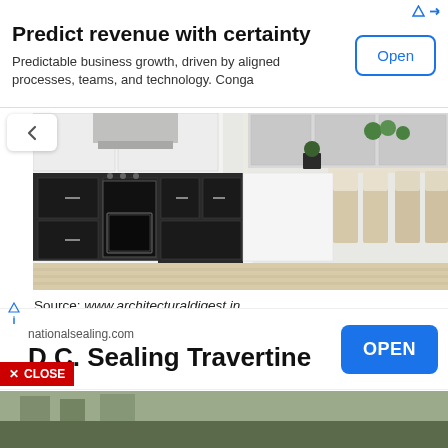[Figure (screenshot): Top advertisement banner: 'Predict revenue with certainty' with subtitle 'Predictable business growth, driven by aligned processes, teams, and technology. Conga' and an Open button]
[Figure (photo): Photo of a modern kitchen/dining area with dark cabinetry, white countertops, and light wood dining chairs and table on light wood floor]
Source: www.architecturaldigest.in
You may browse our duplex house plans with
ern elevations best suited to the environment
[Figure (screenshot): Bottom advertisement: nationalsealing.com - D.C. Sealing Travertine with blue OPEN button]
[Figure (photo): Bottom strip showing partial outdoor/landscape image]